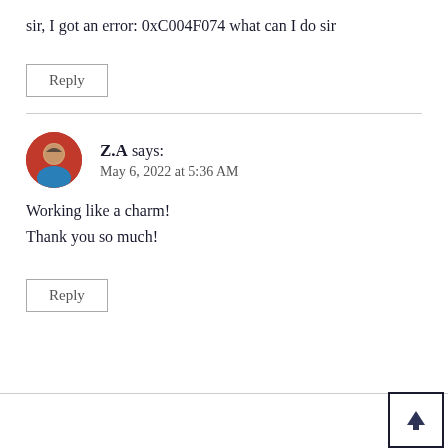sir, I got an error: 0xC004F074 what can I do sir
Reply
Z.A says: May 6, 2022 at 5:36 AM
Working like a charm!
Thank you so much!
Reply